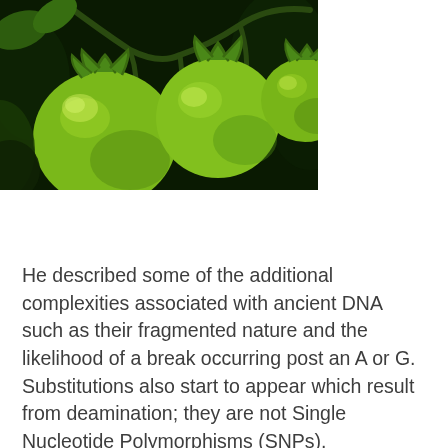[Figure (photo): Close-up photograph of bright green unripe tomatoes on the vine against a dark background]
He described some of the additional complexities associated with ancient DNA such as their fragmented nature and the likelihood of a break occurring post an A or G. Substitutions also start to appear which result from deamination; they are not Single Nucleotide Polymorphisms (SNPs).